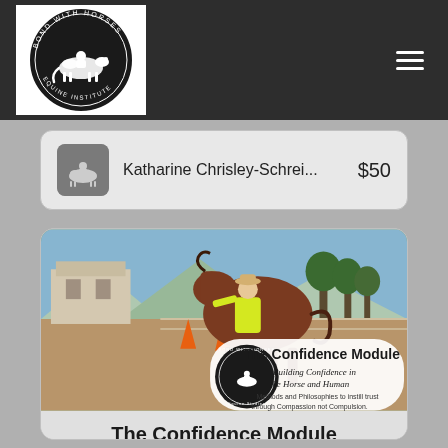[Figure (logo): Bond With Horses Equine Institute circular logo on dark navigation bar with hamburger menu icon]
Katharine Chrisley-Schrei...   $50
[Figure (photo): Photo of a brown horse with a person in a yellow vest in an outdoor arena, overlaid with Bond With Horses logo and text: The Confidence Module, Building Confidence in the Horse and Human, Methods and Philosophies to instill trust through Compassion not Compulsion.]
The Confidence Module
Building Confidence in the Horse and Human